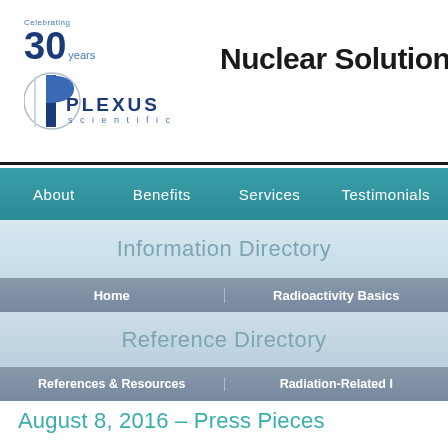[Figure (logo): Plexus Scientific logo with '30 years Celebrating' badge and blue P-shaped icon with PLEXUS SCIENTIFIC text]
Nuclear Solutions
About
Benefits
Services
Testimonials
Information Directory
Home
Radioactivity Basics
Reference Directory
References & Resources
Radiation-Related I
August 8, 2016 – Press Pieces